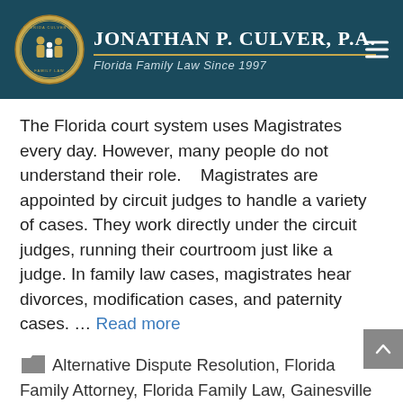[Figure (logo): Jonathan P. Culver, P.A. law firm header with circular family law logo on dark teal background, firm name in white serif font, gold horizontal rule, tagline 'Florida Family Law Since 1997', and hamburger menu icon.]
The Florida court system uses Magistrates every day. However, many people do not understand their role.    Magistrates are appointed by circuit judges to handle a variety of cases. They work directly under the circuit judges, running their courtroom just like a judge. In family law cases, magistrates hear divorces, modification cases, and paternity cases. … Read more
Alternative Dispute Resolution, Florida Family Attorney, Florida Family Law, Gainesville Family Law, Mediation, Ocala Divorce Attorney, Ocala Divorce Lawyer, Ocala Family Law